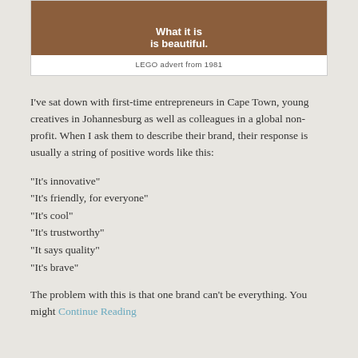[Figure (photo): LEGO advertisement image from 1981 showing brown background with white bold text 'What it is is beautiful.']
LEGO advert from 1981
I've sat down with first-time entrepreneurs in Cape Town, young creatives in Johannesburg as well as colleagues in a global non-profit. When I ask them to describe their brand, their response is usually a string of positive words like this:
"It's innovative"
"It's friendly, for everyone"
"It's cool"
"It's trustworthy"
"It says quality"
"It's brave"
The problem with this is that one brand can't be everything. You might Continue Reading